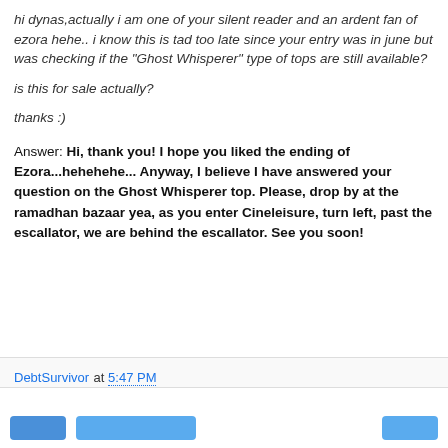hi dynas,actually i am one of your silent reader and an ardent fan of ezora hehe.. i know this is tad too late since your entry was in june but was checking if the "Ghost Whisperer" type of tops are still available?
is this for sale actually?
thanks :)
Answer: Hi, thank you! I hope you liked the ending of Ezora...hehehehe... Anyway, I believe I have answered your question on the Ghost Whisperer top. Please, drop by at the ramadhan bazaar yea, as you enter Cineleisure, turn left, past the escallator, we are behind the escallator. See you soon!
DebtSurvivor at 5:47 PM